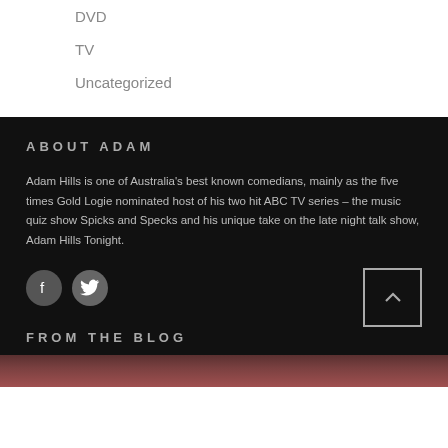DVD
TV
Uncategorized
ABOUT ADAM
Adam Hills is one of Australia's best known comedians, mainly as the five times Gold Logie nominated host of his two hit ABC TV series – the music quiz show Spicks and Specks and his unique take on the late night talk show, Adam Hills Tonight.
[Figure (other): Facebook and Twitter social media icon buttons]
FROM THE BLOG
[Figure (photo): Partially visible blog image strip at bottom of page]